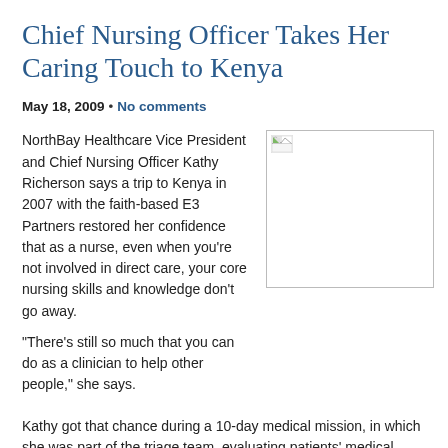Chief Nursing Officer Takes Her Caring Touch to Kenya
May 18, 2009 • No comments
NorthBay Healthcare Vice President and Chief Nursing Officer Kathy Richerson says a trip to Kenya in 2007 with the faith-based E3 Partners restored her confidence that as a nurse, even when you're not involved in direct care, your core nursing skills and knowledge don't go away.
[Figure (photo): Image placeholder showing broken image icon — photo of Kathy Richerson]
“There’s still so much that you can do as a clinician to help other people,” she says.
Kathy got that chance during a 10-day medical mission, in which she was part of the triage team, evaluating patients’ medical needs, giving them basic medication and directing them to the appropriate station for further help.